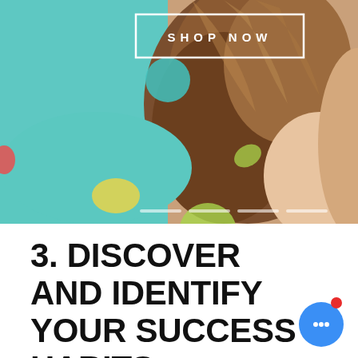[Figure (photo): Top half of page: a woman with brown hair seen from behind/side, with colorful confetti dots (teal, green, yellow) overlaid on a teal/mint background. A white outlined rectangle with 'SHOP NOW' text is overlaid at the top center. Slider navigation dots appear at the bottom of the image.]
3. DISCOVER AND IDENTIFY YOUR SUCCESS HABITS